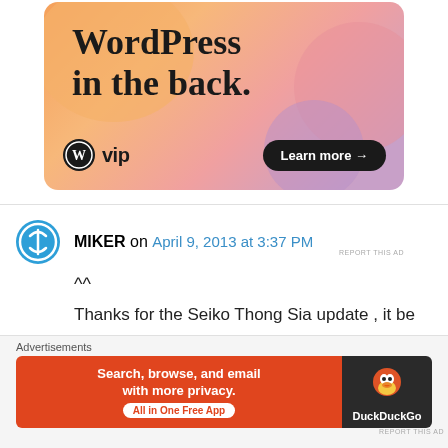[Figure (infographic): WordPress VIP advertisement banner with orange gradient background, bold text 'WordPress in the back.' and a 'Learn more →' button]
MIKER on April 9, 2013 at 3:37 PM
^^
Thanks for the Seiko Thong Sia update , it be great if you take some pics of new store next time you vist .
Advertisements
[Figure (infographic): DuckDuckGo advertisement: 'Search, browse, and email with more privacy. All in One Free App' on orange background with DuckDuckGo logo on dark right panel]